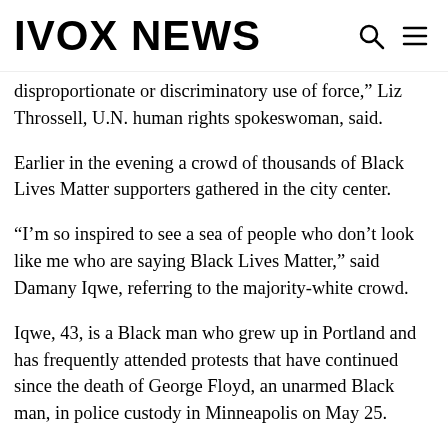IVOX NEWS
disproportionate or discriminatory use of force,” Liz Throssell, U.N. human rights spokeswoman, said.
Earlier in the evening a crowd of thousands of Black Lives Matter supporters gathered in the city center.
“I’m so inspired to see a sea of people who don’t look like me who are saying Black Lives Matter,” said Damany Iqwe, referring to the majority-white crowd.
Iqwe, 43, is a Black man who grew up in Portland and has frequently attended protests that have continued since the death of George Floyd, an unarmed Black man, in police custody in Minneapolis on May 25.
“This city is one of the most systematically racist places